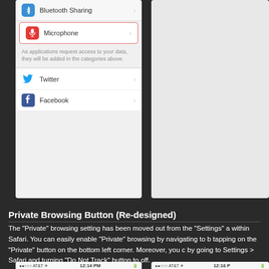[Figure (screenshot): iOS Settings screenshot showing Privacy options including Bluetooth Sharing (highlighted), Microphone (highlighted with red border), info text, Twitter and Facebook rows]
[Figure (screenshot): iOS Settings screenshot (partial, right side visible)]
Private Browsing Button (Re-designed)
The “Private” browsing setting has been moved out from the “Settings” a within Safari. You can easily enable “Private” browsing by navigating to b tapping on the “Private” button on the bottom left corner. Moreover, you c by going to Settings > Safari and turning “Do Not Track” button to off.
[Figure (screenshot): iOS Safari Bookmarks screen showing status bar (AT&T, 12:14 PM), Bookmarks header with Done button, segmented control, Favorites, History, and YouTube - KJ's Phone rows]
[Figure (screenshot): iOS Settings > Safari screen showing status bar (AT&T, 12:16 PM), Settings back button, Safari title, GENERAL section with Search Engine, Passwords & AutoFill, Favorites rows]